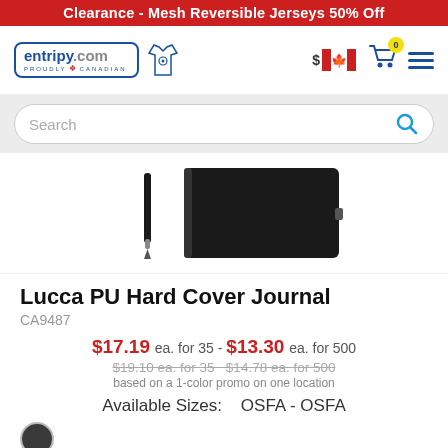Clearance - Mesh Reversible Jerseys 50% Off
[Figure (logo): entripy.com logo with t-shirt icon, PROUDLY CANADIAN tagline]
[Figure (screenshot): Search bar with magnifying glass icon]
[Figure (photo): Product photo of Lucca PU Hard Cover Journal with pen, black cover]
Lucca PU Hard Cover Journal
CA9487
$17.19 ea. for 35 - $13.30 ea. for 500
$19.10 ea. for 35  $14.78 ea. for 500
based on a 1-color promo on one location
Available Sizes:  OSFA - OSFA
[Figure (other): Black round color swatch]